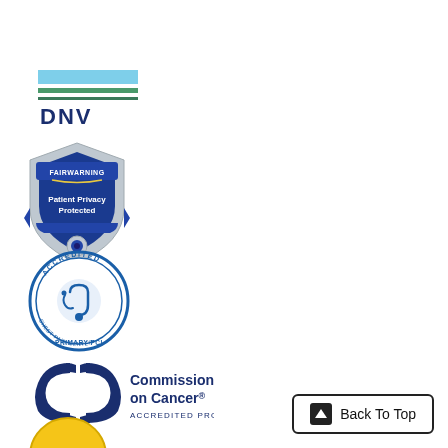[Figure (logo): DNV logo with horizontal blue and teal bars above letters DNV in dark blue]
[Figure (logo): FairWarning Patient Privacy Protected shield badge in blue and silver]
[Figure (logo): American College of Cardiology Accredited Chest Pain Center Primary PCI circular seal in blue]
[Figure (logo): Commission on Cancer Accredited Program logo with two C shapes and text]
[Figure (logo): Partial circular logo at bottom of page]
Back To Top